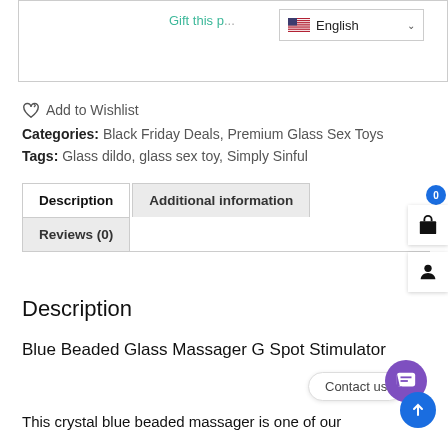[Figure (screenshot): Top section of an e-commerce product page showing a language selector dropdown (English with US flag) and partial text 'Gift this p...' in teal color]
♡+ Add to Wishlist
Categories: Black Friday Deals, Premium Glass Sex Toys
Tags: Glass dildo, glass sex toy, Simply Sinful
[Figure (screenshot): Tab navigation with three tabs: Description (active/white), Additional information (gray), and Reviews (0) (gray) on a second row]
Description
Blue Beaded Glass Massager G Spot Stimulator
This crystal blue beaded massager is one of our